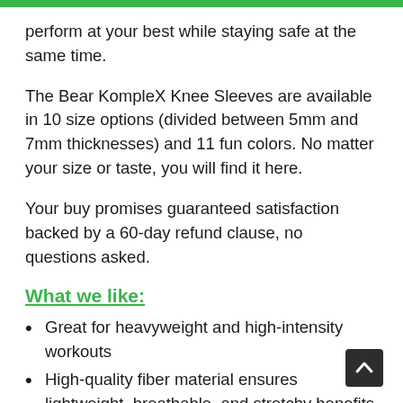perform at your best while staying safe at the same time.
The Bear KompleX Knee Sleeves are available in 10 size options (divided between 5mm and 7mm thicknesses) and 11 fun colors. No matter your size or taste, you will find it here.
Your buy promises guaranteed satisfaction backed by a 60-day refund clause, no questions asked.
What we like:
Great for heavyweight and high-intensity workouts
High-quality fiber material ensures lightweight, breathable, and stretchy benefits